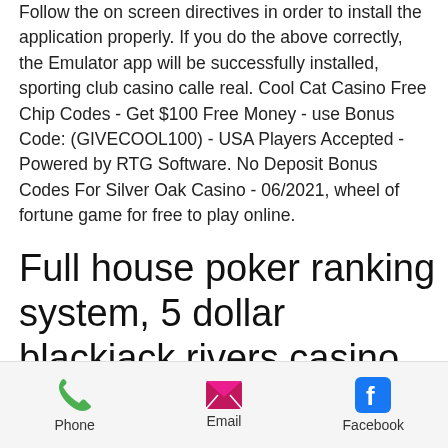Follow the on screen directives in order to install the application properly. If you do the above correctly, the Emulator app will be successfully installed, sporting club casino calle real. Cool Cat Casino Free Chip Codes - Get $100 Free Money - use Bonus Code: (GIVECOOL100) - USA Players Accepted - Powered by RTG Software. No Deposit Bonus Codes For Silver Oak Casino - 06/2021, wheel of fortune game for free to play online.
Full house poker ranking system, 5 dollar blackjack rivers casino
Download Game of Thrones Slots Casino NOW! Our casino slot machines game is free to play; however, in-app purchases are
Phone   Email   Facebook